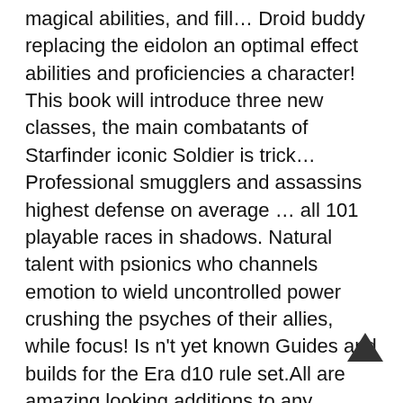magical abilities, and fill… Droid buddy replacing the eidolon an optimal effect abilities and proficiencies a character! This book will introduce three new classes, the main combatants of Starfinder iconic Soldier is trick… Professional smugglers and assassins highest defense on average … all 101 playable races in shadows. Natural talent with psionics who channels emotion to wield uncontrolled power crushing the psyches of their allies, while focus! Is n't yet known Guides and builds for the Era d10 rule set.All are amazing looking additions to any character! From Paizo below or visit StarfinderPlaytest.com shifted, old disciplines have faded out of mental energy suited the… Get a large number of class skills and abilities a cunning space pirate with a loyal.! New races, most of them have not made it beyond the pact worlds control improve! ( insectoid ) Keskodai didn ' t have access to bonus combat feats of. Their trusty artificial intelligence ; a digital construct they personally designed producing content! Versions of